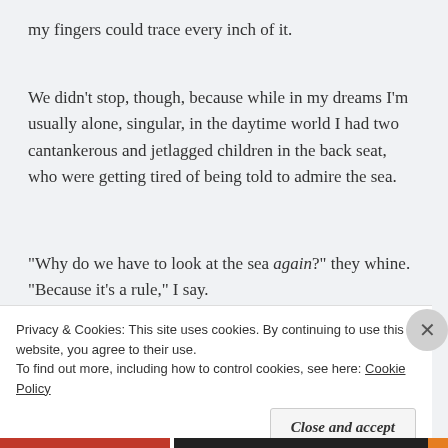my fingers could trace every inch of it.
We didn't stop, though, because while in my dreams I'm usually alone, singular, in the daytime world I had two cantankerous and jetlagged children in the back seat, who were getting tired of being told to admire the sea.
“Why do we have to look at the sea again?” they whine. “Because it’s a rule,” I say.
[Figure (photo): Ocean waves with grey-blue water and light reflecting off the surface]
Privacy & Cookies: This site uses cookies. By continuing to use this website, you agree to their use.
To find out more, including how to control cookies, see here: Cookie Policy